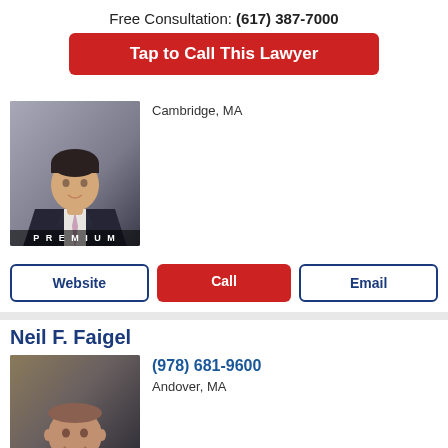Free Consultation: (617) 387-7000
Tap to Call This Lawyer
[Figure (photo): Professional headshot of male lawyer in dark suit, PREMIUM badge at bottom]
Cambridge, MA
Website | Call | Email
Neil F. Faigel
[Figure (photo): Professional headshot of older male lawyer in dark suit with blue tie, PREMIUM badge at bottom]
(978) 681-9600
Andover, MA
Website | Call | Email